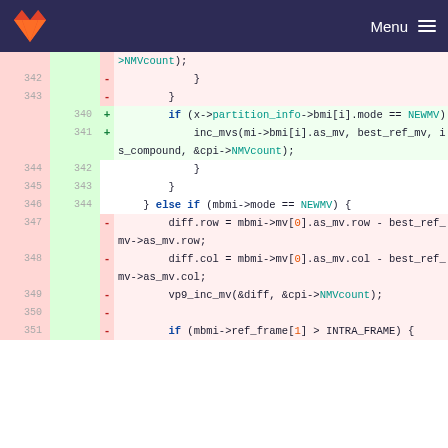GitLab Menu
[Figure (screenshot): Code diff view showing changes to a C source file. Removed lines (red background) show old motion vector counting code using diff.row/col and vp9_inc_mv. Added lines (green background) show new code using if (x->partition_info->bmi[i].mode == NEWMV) and inc_mvs(mi->bmi[i].as_mv, best_ref_mv, is_compound, &cpi->NMVcount). Context lines show closing braces and } else if (mbmi->mode == NEWMV) { branch.]